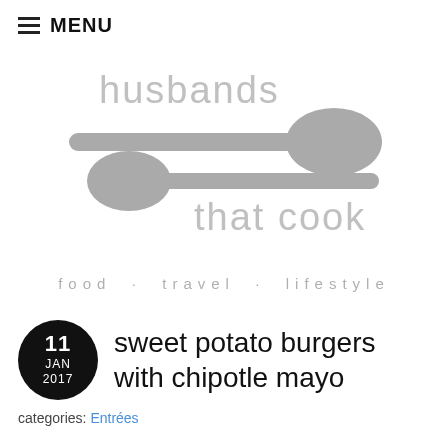≡ MENU
[Figure (logo): Husbands That Cook logo with two overlapping grey spoons and text 'husbands that cook']
food · travel · lifestyle
sweet potato burgers with chipotle mayo
categories: Entrées